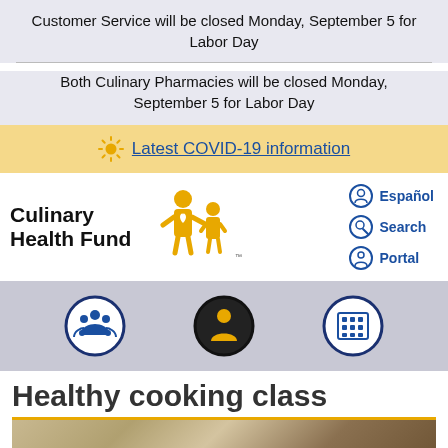Customer Service will be closed Monday, September 5 for Labor Day
Both Culinary Pharmacies will be closed Monday, September 5 for Labor Day
Latest COVID-19 information
[Figure (logo): Culinary Health Fund logo with stylized family figures in gold/yellow and text 'Culinary Health Fund']
Español
Search
Portal
[Figure (infographic): Three circular icon buttons in navigation bar: group/members icon (blue border), individual/person icon (dark/black border), building/facility icon (blue border)]
Healthy cooking class
[Figure (photo): Photo of a healthy cooking class, partially visible at bottom of page]